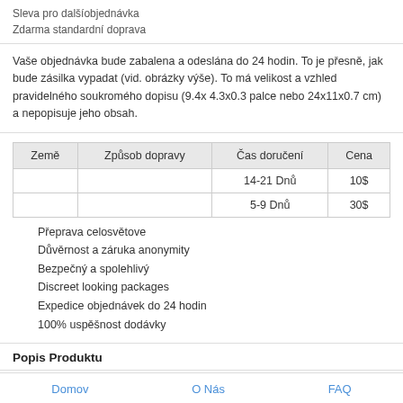Sleva pro dalšíobjednávka
Zdarma standardní doprava
Vaše objednávka bude zabalena a odeslána do 24 hodin. To je přesně, jak bude zásilka vypadat (vid. obrázky výše). To má velikost a vzhled pravidelného soukromého dopisu (9.4x 4.3x0.3 palce nebo 24x11x0.7 cm) a nepopisuje jeho obsah.
| Země | Způsob dopravy | Čas doručení | Cena |
| --- | --- | --- | --- |
|  |  | 14-21 Dnů | 10$ |
|  |  | 5-9 Dnů | 30$ |
Přeprava celosvětove
Důvěrnost a záruka anonymity
Bezpečný a spolehlivý
Discreet looking packages
Expedice objednávek do 24 hodin
100% uspěšnost dodávky
Popis Produktu
Ohlasy
Domov    O Nás    FAQ